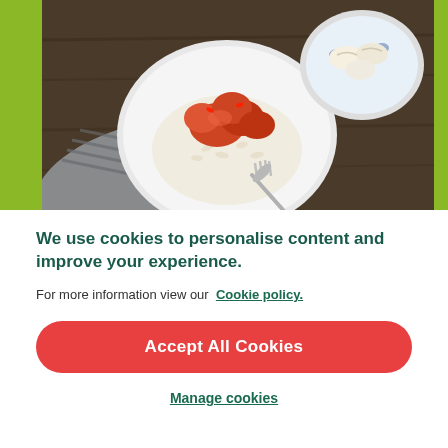[Figure (photo): Overhead photo of a white bowl with chicken in red/orange sauce over white rice with a fork, alongside a blue patterned bowl with dumplings/wontons, on a dark wood table with a striped grey cloth napkin. Green background panels on left and right sides.]
We use cookies to personalise content and improve your experience.
For more information view our Cookie policy.
Accept All Cookies
Manage cookies